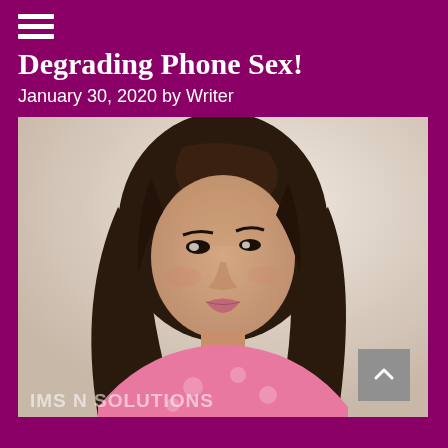≡
Degrading Phone Sex!
January 30, 2020 by Writer
[Figure (photo): Young woman with long dark brown hair, wearing a pink top with polka dots, looking slightly to the side with a subtle smile. Light/cream background. Watermark text at bottom: IMS N SOLUTIONS]